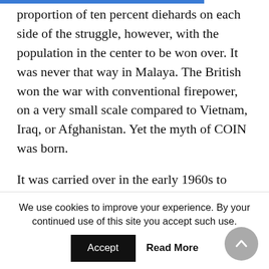proportion of ten percent diehards on each side of the struggle, however, with the population in the center to be won over. It was never that way in Malaya. The British won the war with conventional firepower, on a very small scale compared to Vietnam, Iraq, or Afghanistan. Yet the myth of COIN was born.

It was carried over in the early 1960s to Vietnam by Sir Robert Thompson, one of Templer's advisers in Malaya. Although Gentile does not discuss it, Thompson also impressed President John F. Kennedy with theories about how to separate the population from the guerillas. The
We use cookies to improve your experience. By your continued use of this site you accept such use.
Accept   Read More